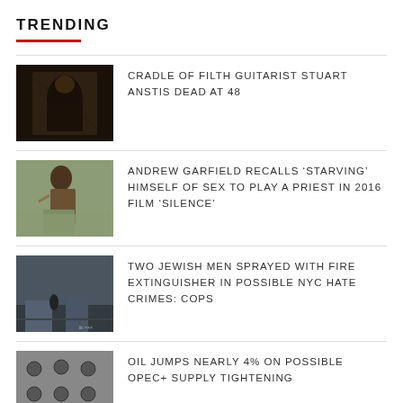TRENDING
CRADLE OF FILTH GUITARIST STUART ANSTIS DEAD AT 48
ANDREW GARFIELD RECALLS 'STARVING' HIMSELF OF SEX TO PLAY A PRIEST IN 2016 FILM 'SILENCE'
TWO JEWISH MEN SPRAYED WITH FIRE EXTINGUISHER IN POSSIBLE NYC HATE CRIMES: COPS
OIL JUMPS NEARLY 4% ON POSSIBLE OPEC+ SUPPLY TIGHTENING